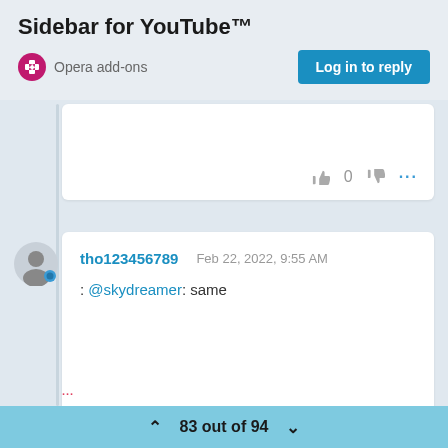Sidebar for YouTube™
Opera add-ons
Log in to reply
[Figure (screenshot): Partial comment card showing thumbs up, 0, thumbs down, and ellipsis actions]
[Figure (screenshot): User avatar icon (gray silhouette with blue dot)]
tho123456789    Feb 22, 2022, 9:55 AM
: @skydreamer: same
83 out of 94